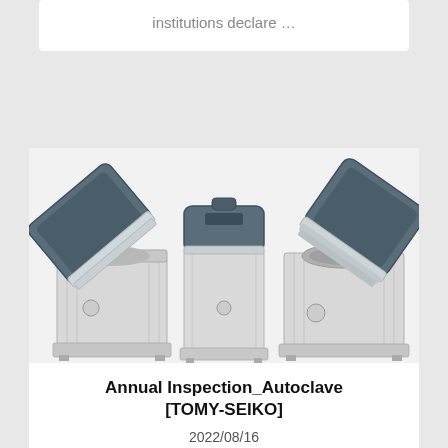institutions declare …
[Figure (photo): Three autoclave machines (TOMY-SEIKO brand) shown from different angles — two with lids open and one closed, all in silver/grey color with blue-grey lid components.]
Annual Inspection_Autoclave [TOMY-SEIKO]
2022/08/16
The autoclaves will be unavailable for